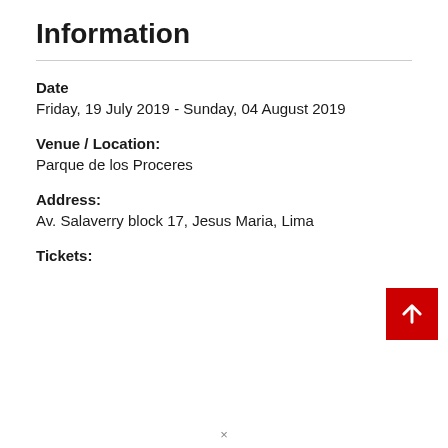Information
Date
Friday, 19 July 2019 - Sunday, 04 August 2019
Venue / Location:
Parque de los Proceres
Address:
Av. Salaverry block 17, Jesus Maria, Lima
Tickets: